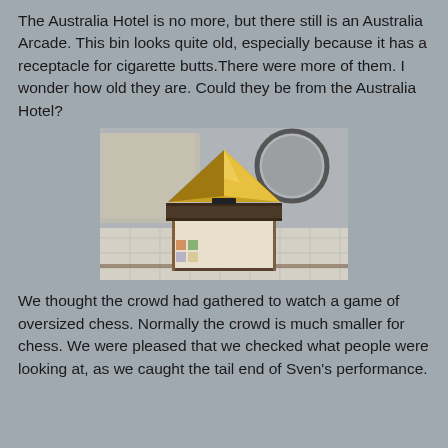The Australia Hotel is no more, but there still is an Australia Arcade. This bin looks quite old, especially because it has a receptacle for cigarette butts.There were more of them. I wonder how old they are. Could they be from the Australia Hotel?
[Figure (photo): A gold pyramid-shaped ornamental bin or ashtray with a dark marble-effect top sitting on a cream/beige square pedestal, photographed in a tiled arcade interior with a circular mirror visible in the background.]
We thought the crowd had gathered to watch a game of oversized chess. Normally the crowd is much smaller for chess. We were pleased that we checked what people were looking at, as we caught the tail end of Sven's performance.